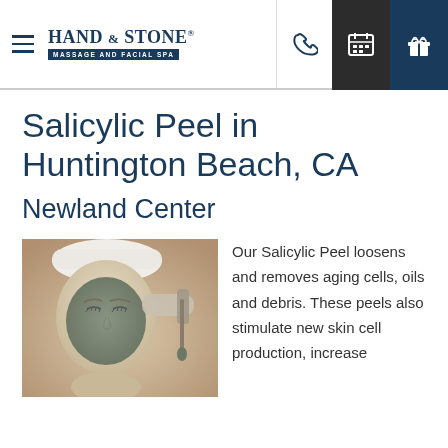Hand & Stone Massage and Facial Spa — Navigation header with phone, calendar, and gift icons
Salicylic Peel in Huntington Beach, CA
Newland Center
[Figure (photo): Woman receiving a facial treatment with a mud/clay mask applied to her face, wearing a white towel on her head, with a technician applying the mask with a brush.]
Our Salicylic Peel loosens and removes aging cells, oils and debris. These peels also stimulate new skin cell production, increase